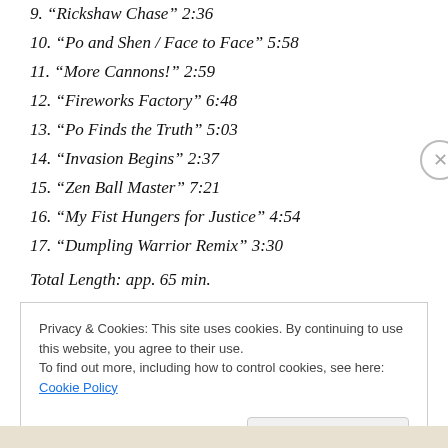9. “Rickshaw Chase” 2:36
10. “Po and Shen / Face to Face” 5:58
11. “More Cannons!” 2:59
12. “Fireworks Factory” 6:48
13. “Po Finds the Truth” 5:03
14. “Invasion Begins” 2:37
15. “Zen Ball Master” 7:21
16. “My Fist Hungers for Justice” 4:54
17. “Dumpling Warrior Remix” 3:30
Total Length: app. 65 min.
Privacy & Cookies: This site uses cookies. By continuing to use this website, you agree to their use.
To find out more, including how to control cookies, see here: Cookie Policy